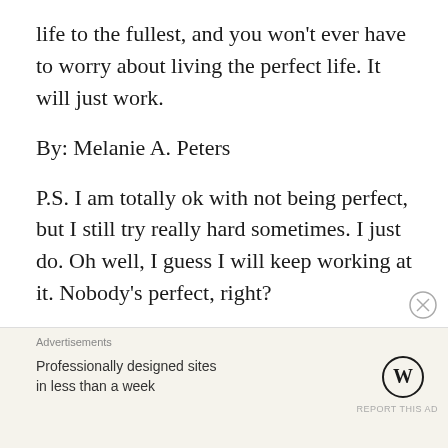life to the fullest, and you won't ever have to worry about living the perfect life. It will just work.
By: Melanie A. Peters
P.S. I am totally ok with not being perfect, but I still try really hard sometimes. I just do. Oh well, I guess I will keep working at it. Nobody's perfect, right?
Advertisements
Professionally designed sites in less than a week